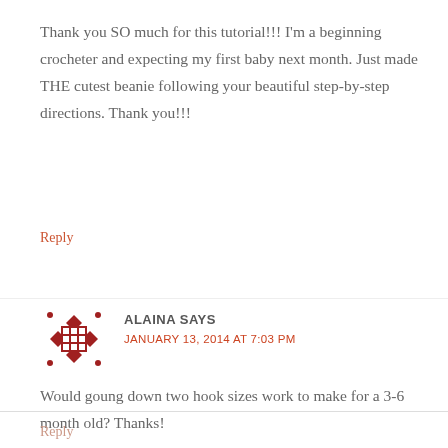Thank you SO much for this tutorial!!! I'm a beginning crocheter and expecting my first baby next month. Just made THE cutest beanie following your beautiful step-by-step directions. Thank you!!!
Reply
ALAINA SAYS
JANUARY 13, 2014 AT 7:03 PM
Would goung down two hook sizes work to make for a 3-6 month old? Thanks!
Reply